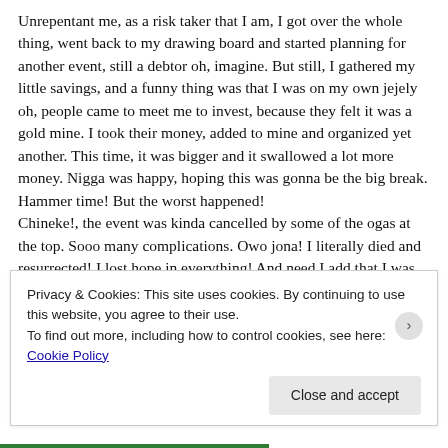Unrepentant me, as a risk taker that I am, I got over the whole thing, went back to my drawing board and started planning for another event, still a debtor oh, imagine. But still, I gathered my little savings, and a funny thing was that I was on my own jejely oh, people came to meet me to invest, because they felt it was a gold mine. I took their money, added to mine and organized yet another. This time, it was bigger and it swallowed a lot more money. Nigga was happy, hoping this was gonna be the big break. Hammer time! But the worst happened!
Chineke!, the event was kinda cancelled by some of the ogas at the top. Sooo many complications. Owo jona! I literally died and resurrected! I lost hope in everything! And need I add that I was still on a 1st class as at then, after my first semester 200Level, but after the whole thing, I gradually went into depression, couldn't think straight anymore, lost the vibe for academics, lost hope in life itself, as I was face to face with everything I ever worked for, gone just like that, loads of debt, and to worsen the whole situation, even supposed friends that brought money to me to
Privacy & Cookies: This site uses cookies. By continuing to use this website, you agree to their use.
To find out more, including how to control cookies, see here: Cookie Policy
Close and accept